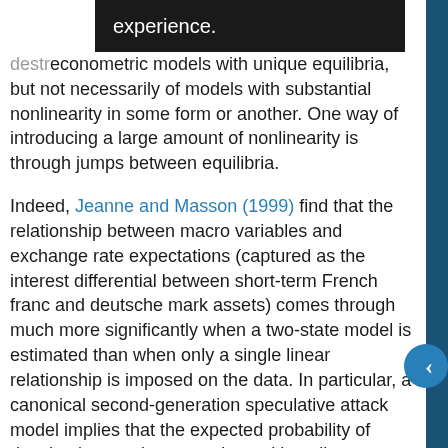econometric models with unique equilibria, but not necessarily of models with substantial nonlinearity in some form or another. One way of introducing a large amount of nonlinearity is through jumps between equilibria.
Indeed, Jeanne and Masson (1999) find that the relationship between macro variables and exchange rate expectations (captured as the interest differential between short-term French franc and deutsche mark assets) comes through much more significantly when a two-state model is estimated than when only a single linear relationship is imposed on the data. In particular, a canonical second-generation speculative attack model implies that the expected probability of devaluation can be approximated by a linear relationship with fundamentals, plus an intercept that takes on one of two values. As shown in Jeanne and Masson (1999), the statistical significance of the coefficients on the macro fundamentals (the French trade balance, real effective exchange rate, and the unemployment rate) and time is much stronger when